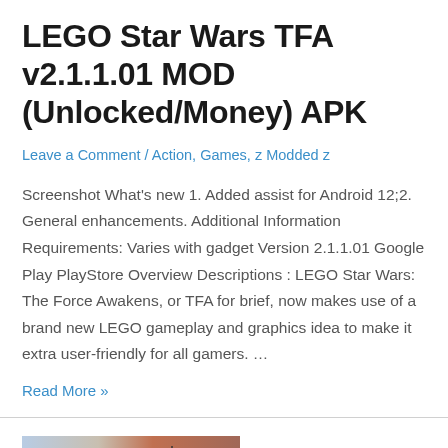LEGO Star Wars TFA v2.1.1.01 MOD (Unlocked/Money) APK
Leave a Comment / Action, Games, z Modded z
Screenshot What's new 1. Added assist for Android 12;2. General enhancements. Additional Information Requirements: Varies with gadget Version 2.1.1.01 Google Play PlayStore Overview Descriptions : LEGO Star Wars: The Force Awakens, or TFA for brief, now makes use of a brand new LEGO gameplay and graphics idea to make it extra user-friendly for all gamers. …
Read More »
[Figure (photo): Landscape photo showing red rock mountains/desert terrain with utility pole/power lines in the foreground, partially obscured by a circular logo or watermark overlay on the left side.]